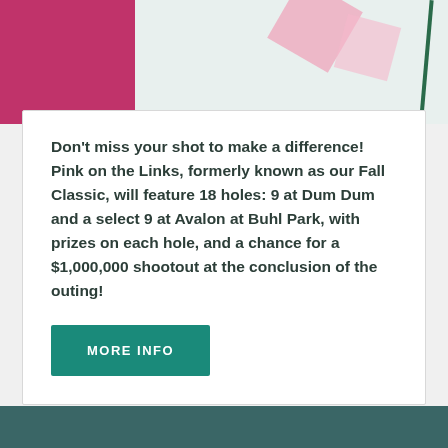[Figure (photo): Top banner area with a pink/magenta textured photo block on the left and a light green background with pink diamond shapes and a dark green diagonal line on the right.]
Don't miss your shot to make a difference! Pink on the Links, formerly known as our Fall Classic, will feature 18 holes: 9 at Dum Dum and a select 9 at Avalon at Buhl Park, with prizes on each hole, and a chance for a $1,000,000 shootout at the conclusion of the outing!
MORE INFO
[Figure (photo): Bottom teal/dark teal footer bar area.]